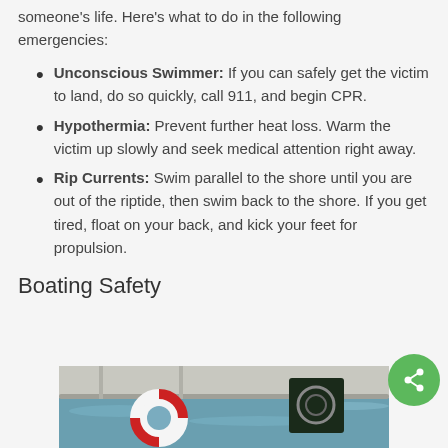someone's life. Here's what to do in the following emergencies:
Unconscious Swimmer: If you can safely get the victim to land, do so quickly, call 911, and begin CPR.
Hypothermia: Prevent further heat loss. Warm the victim up slowly and seek medical attention right away.
Rip Currents: Swim parallel to the shore until you are out of the riptide, then swim back to the shore. If you get tired, float on your back, and kick your feet for propulsion.
Boating Safety
[Figure (photo): Photo of a boat deck with a life ring/preserver visible on railing, water in background]